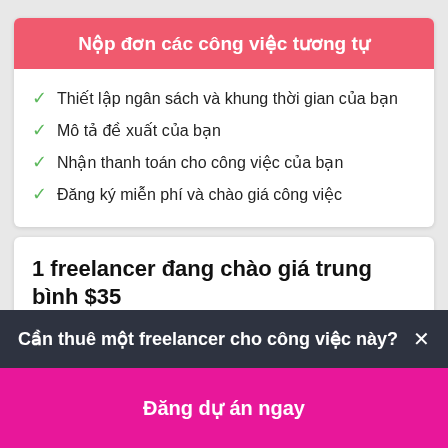Nộp đơn các công việc tương tự
Thiết lập ngân sách và khung thời gian của bạn
Mô tả đề xuất của bạn
Nhận thanh toán cho công việc của bạn
Đăng ký miễn phí và chào giá công việc
1 freelancer đang chào giá trung bình $35
Cần thuê một freelancer cho công việc này? ×
Đăng dự án ngay